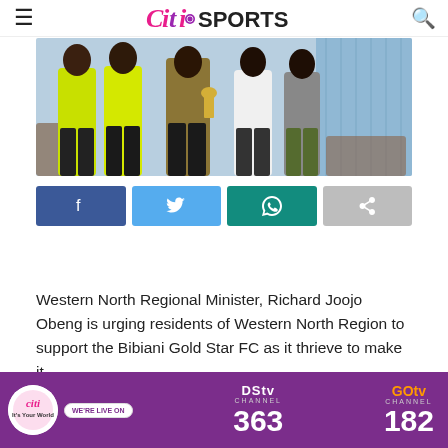Citi SPORTS
[Figure (photo): Group photo of people including Bibiani Gold Star FC players and Western North Regional Minister Richard Joojo Obeng standing together]
[Figure (infographic): Social sharing buttons: Facebook, Twitter, WhatsApp, Share]
Western North Regional Minister, Richard Joojo Obeng is urging residents of Western North Region to support the Bibiani Gold Star FC as it thrieve to make it
[Figure (infographic): Citi TV advertisement banner: WE'RE LIVE ON, DStv Channel 363, GOtv Channel 182]